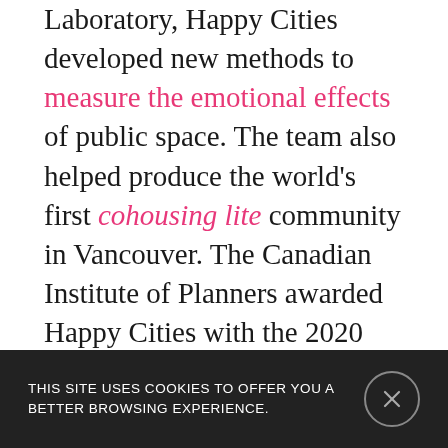Laboratory, Happy Cities developed new methods to measure the emotional effects of public space. The team also helped produce the world's first cohousing lite community in Vancouver. The Canadian Institute of Planners awarded Happy Cities with the 2020 Healthy Communities Planning Award for Planning Excellence.

Charles grew up on a small farm on Vancouver Island. As a gay man, he learned to appreciate the ways that society includes or excludes people based on their identity. That knowledge has shaped his interest in
THIS SITE USES COOKIES TO OFFER YOU A BETTER BROWSING EXPERIENCE.